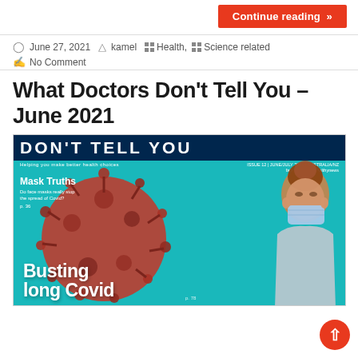Continue reading »
June 27, 2021  kamel  Health,  Science related  No Comment
What Doctors Don't Tell You – June 2021
[Figure (illustration): Magazine cover of 'What Doctors Don't Tell You' – June/July 2021 (Australia/NZ). Teal background with large red coronavirus illustration. Headline 'Busting long Covid'. Sub-headline 'Mask Truths – Do face masks really stop the spread of Covid? p.36'. Woman wearing face mask on right side.]